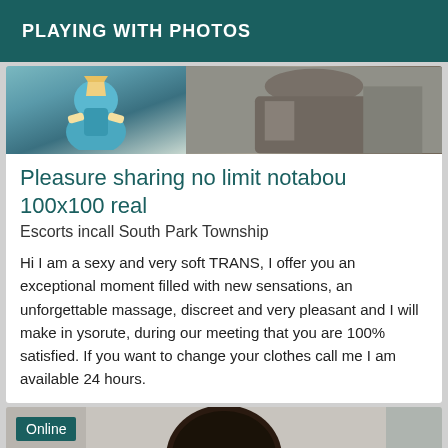PLAYING WITH PHOTOS
[Figure (photo): Two blurred photos side by side forming a banner strip above a listing card]
Pleasure sharing no limit notabou 100x100 real
Escorts incall South Park Township
Hi I am a sexy and very soft TRANS, I offer you an exceptional moment filled with new sensations, an unforgettable massage, discreet and very pleasant and I will make in ysorute, during our meeting that you are 100% satisfied. If you want to change your clothes call me I am available 24 hours.
[Figure (photo): Photo of a person with dark hair, partially visible from behind, with an 'Online' badge overlay]